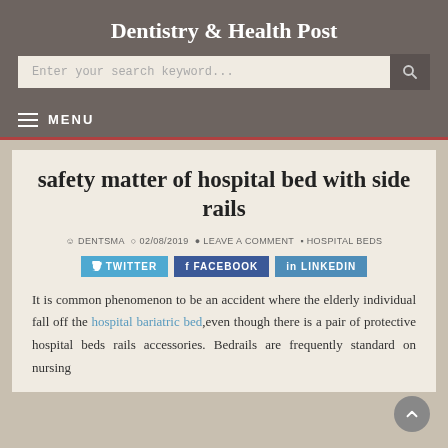Dentistry & Health Post
safety matter of hospital bed with side rails
DENTSMA  02/08/2019  LEAVE A COMMENT  HOSPITAL BEDS
TWITTER  FACEBOOK  LINKEDIN
It is common phenomenon to be an accident where the elderly individual fall off the hospital bariatric bed,even though there is a pair of protective hospital beds rails accessories. Bedrails are frequently standard on nursing